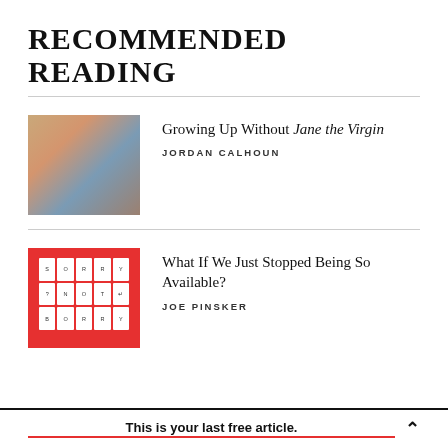RECOMMENDED READING
[Figure (photo): Group of people at a party or celebration, man in foreground with arms raised]
Growing Up Without Jane the Virgin
JORDAN CALHOUN
[Figure (photo): Red background with keyboard keys spelling SORRY NOT SORRY in a grid layout]
What If We Just Stopped Being So Available?
JOE PINSKER
This is your last free article.